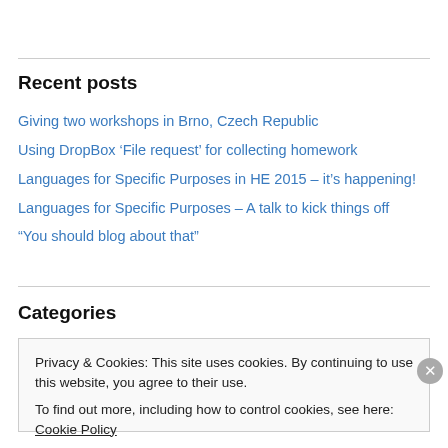Recent posts
Giving two workshops in Brno, Czech Republic
Using DropBox ‘File request’ for collecting homework
Languages for Specific Purposes in HE 2015 – it’s happening!
Languages for Specific Purposes – A talk to kick things off
“You should blog about that”
Categories
Privacy & Cookies: This site uses cookies. By continuing to use this website, you agree to their use.
To find out more, including how to control cookies, see here: Cookie Policy
Close and accept